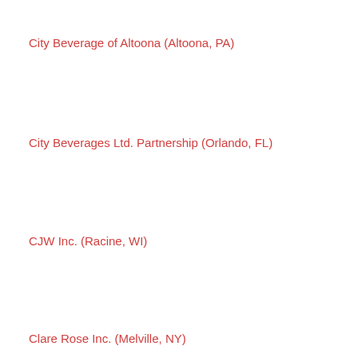City Beverage of Altoona (Altoona, PA)
City Beverages Ltd. Partnership (Orlando, FL)
CJW Inc. (Racine, WI)
Clare Rose Inc. (Melville, NY)
Clare Rose Inc. (Patchogue, NY)
Clark Distributing Co. (Dyersburg, TN)
Clark Distributing Co., Inc. (Bardstown, KY)
Clark Distributing Co., Inc. (Betsy Lane, KY)
Clark Distributing Co., Inc. (Bowling Green, KY)